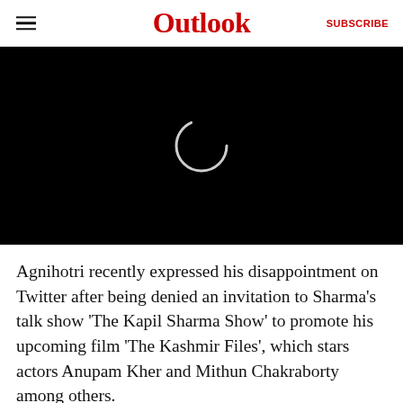Outlook  SUBSCRIBE
[Figure (screenshot): Black video player with a loading spinner (circle) in the center]
Agnihotri recently expressed his disappointment on Twitter after being denied an invitation to Sharma’s talk show ‘The Kapil Sharma Show’ to promote his upcoming film ‘The Kashmir Files’, which stars actors Anupam Kher and Mithun Chakraborty among others.